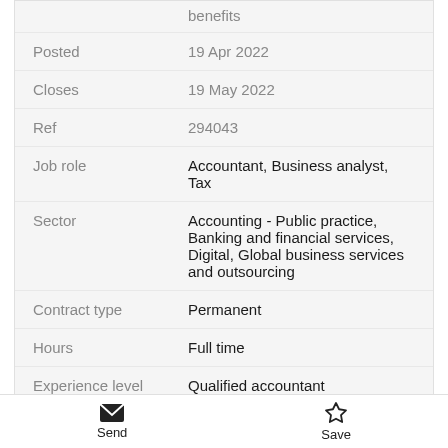| Field | Value |
| --- | --- |
|  | benefits |
| Posted | 19 Apr 2022 |
| Closes | 19 May 2022 |
| Ref | 294043 |
| Job role | Accountant, Business analyst, Tax |
| Sector | Accounting - Public practice, Banking and financial services, Digital, Global business services and outsourcing |
| Contract type | Permanent |
| Hours | Full time |
| Experience level | Qualified accountant |
Pursue a Career with Impact